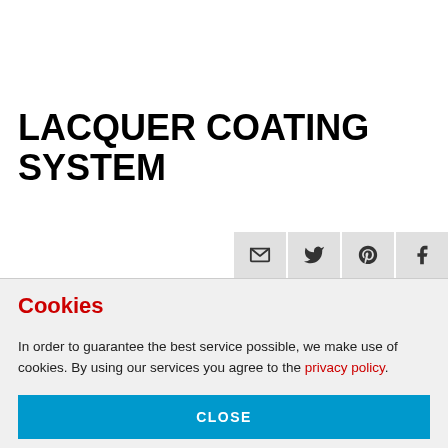LACQUER COATING SYSTEM
[Figure (other): Social share buttons: email, Twitter, Pinterest, Facebook]
Cookies
In order to guarantee the best service possible, we make use of cookies. By using our services you agree to the privacy policy.
CLOSE